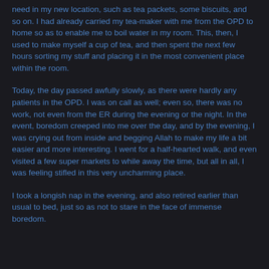need in my new location, such as tea packets, some biscuits, and so on. I had already carried my tea-maker with me from the OPD to home so as to enable me to boil water in my room. This, then, I used to make myself a cup of tea, and then spent the next few hours sorting my stuff and placing it in the most convenient place within the room.
Today, the day passed awfully slowly, as there were hardly any patients in the OPD. I was on call as well; even so, there was no work, not even from the ER during the evening or the night. In the event, boredom creeped into me over the day, and by the evening, I was crying out from inside and begging Allah to make my life a bit easier and more interesting. I went for a half-hearted walk, and even visited a few super markets to while away the time, but all in all, I was feeling stifled in this very uncharming place.
I took a longish nap in the evening, and also retired earlier than usual to bed, just so as not to stare in the face of immense boredom.